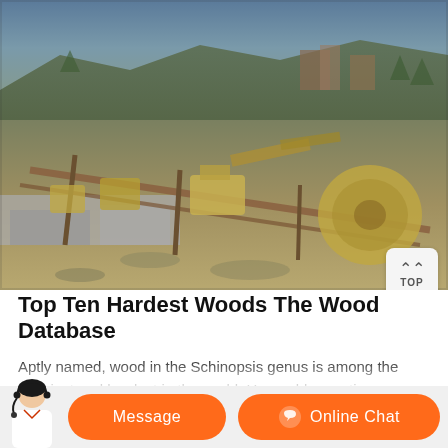[Figure (photo): Aerial/elevated view of an industrial quarry or mining site with heavy machinery, conveyor structures, and rocky terrain. Yellow industrial equipment visible among rubble and hills in the background.]
Top Ten Hardest Woods The Wood Database
Aptly named, wood in the Schinopsis genus is among the heaviest and hardest in the world. Honorable mentions Leadwood (3,570 lb f), Brown Ebony (3,590 lb f), Ipe (3,510 lbf), Mopane (3,390 lbf), Burmese Blackwood (3,350 lbf), Kingwood (3,340 lbf). Hardness listings are for woods at a dried weight of 12% moisture content
[Figure (screenshot): Bottom UI bar with orange buttons: Message button on left, Online Chat button on right, with a customer service avatar on the far left.]